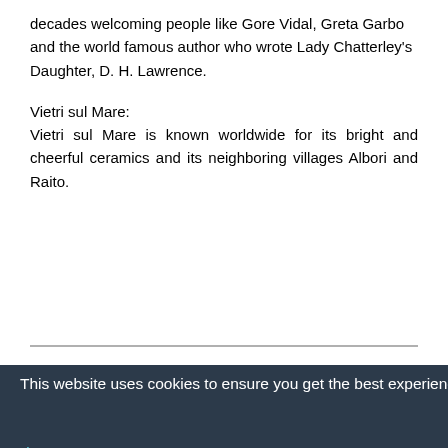decades welcoming people like Gore Vidal, Greta Garbo and the world famous author who wrote Lady Chatterley's Daughter, D. H. Lawrence.
Vietri sul Mare:
Vietri sul Mare is known worldwide for its bright and cheerful ceramics and its neighboring villages Albori and Raito.
[Figure (screenshot): Cookie consent banner overlay with dark background showing text: 'This website uses cookies to ensure you get the best experience on our website.' with 'Learn more' link and 'Got it!' button in teal/cyan color bar. Partial page text visible on right side.]